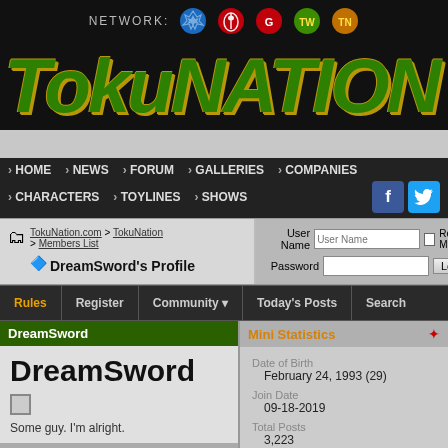NETWORK:
[Figure (logo): TokuNation logo in green italic bold font with gold outline]
› HOME › NEWS › FORUM › GALLERIES › COMPANIES › CHARACTERS › TOYLINES › SHOWS
TokuNation.com > TokuNation > Members List — DreamSword's Profile
User Name | Password | Remember Me? | Log in
Rules | Register | Community | Today's Posts | Search
DreamSword
Mini Statistics
DreamSword
Some guy. I'm alright.
Date of Birth
    February 24, 1993 (29)
Join Date
    09-18-2019
Total Posts
    3,223